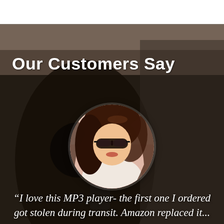[Figure (photo): Background photo of a woman with headphones listening to music, blurred, dark moody tones. A white bar at the top partially visible. A circular avatar portrait of a young woman with sunglasses and flowing hair is overlaid in the center.]
Our Customers Say
“I love this MP3 player- the first one I ordered got stolen during transit. Amazon replaced it...